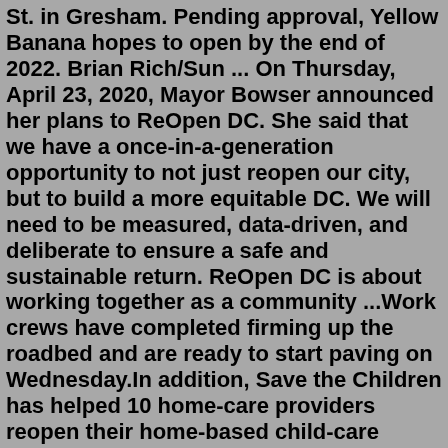St. in Gresham. Pending approval, Yellow Banana hopes to open by the end of 2022. Brian Rich/Sun ... On Thursday, April 23, 2020, Mayor Bowser announced her plans to ReOpen DC. She said that we have a once-in-a-generation opportunity to not just reopen our city, but to build a more equitable DC. We will need to be measured, data-driven, and deliberate to ensure a safe and sustainable return. ReOpen DC is about working together as a community ...Work crews have completed firming up the roadbed and are ready to start paving on Wednesday.In addition, Save the Children has helped 10 home-care providers reopen their home-based child-care programs, has supplied hundreds of home-care and day-care providers with much needed supplies, and has created a new, engaging after-school program for more than 70 displaced children in grades K-8 at an elementary school in Richwood.Updated May 20, 2022 at 6:48 p.m. EDT | Published May 20, 2022 at 9:00 a.m. EDT Lynda DePiero is on the hook for nearly $435,000 after she accepted about $47,000 in benefits to which